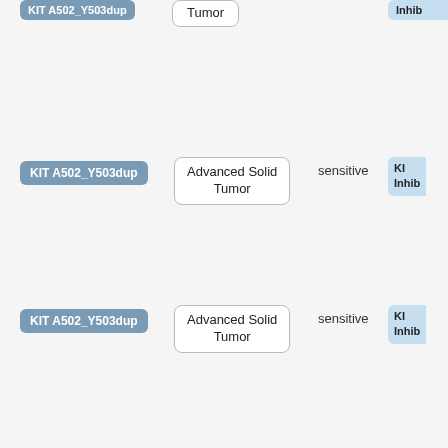| Mutation | Cancer Type | Sensitivity | Drug |
| --- | --- | --- | --- |
| (cut off top) | Tumor |  | Inhib... |
| KIT A502_Y503dup | Advanced Solid Tumor | sensitive | KI Inhib... |
| KIT A502_Y503dup | Advanced Solid Tumor | sensitive | KI Inhib... |